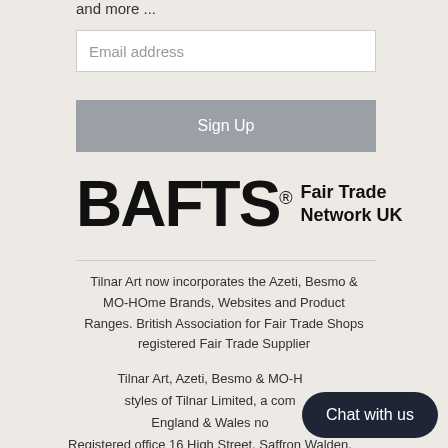and more ...
Email address
Sign Up
[Figure (logo): BAFTS Fair Trade Network UK logo with bold BAFTS lettering and registered trademark symbol]
Tilnar Art now incorporates the Azeti, Besmo & MO-HOme Brands, Websites and Product Ranges. British Association for Fair Trade Shops registered Fair Trade Supplier
Tilnar Art, Azeti, Besmo & MO-HOme are trading styles of Tilnar Limited, a company registered in England & Wales no. Registered office 16 High Street, Saffron Walden, Essex, CB10 1AX